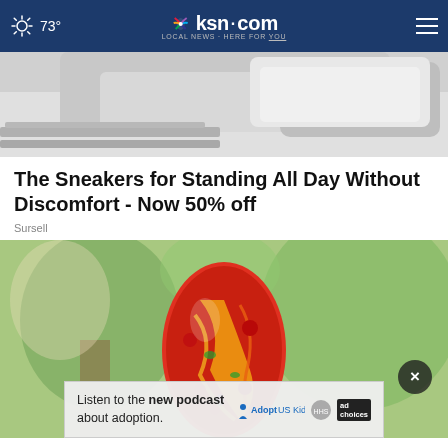73° ksn.com LOCAL NEWS · HERE FOR YOU
[Figure (photo): Close-up of gray/white sneaker sole and mesh upper on wooden surface]
The Sneakers for Standing All Day Without Discomfort - Now 50% off
Sursell
[Figure (photo): Colorful hand-blown glass egg ornament with red, yellow, orange swirl patterns, set against a blurred green tree background]
Listen to the new podcast about adoption.